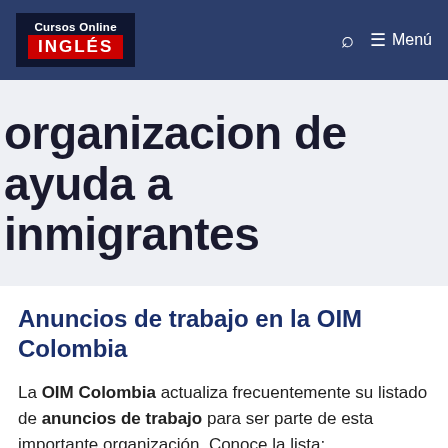Cursos Online INGLÉS — Menú
organizacion de ayuda a inmigrantes
Anuncios de trabajo en la OIM Colombia
La OIM Colombia actualiza frecuentemente su listado de anuncios de trabajo para ser parte de esta importante organización. Conoce la lista: